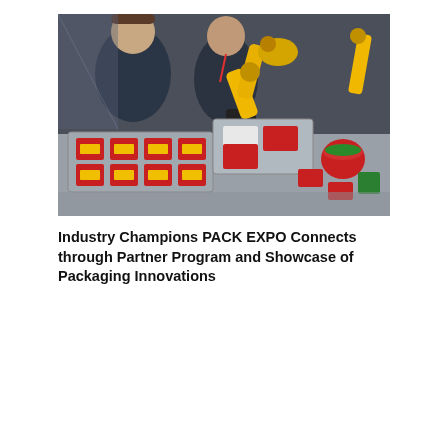[Figure (photo): A yellow industrial robotic arm operating at a trade show booth, handling red and green packaged food containers on conveyor trays. Two men stand in the background watching the demonstration.]
Industry Champions PACK EXPO Connects through Partner Program and Showcase of Packaging Innovations